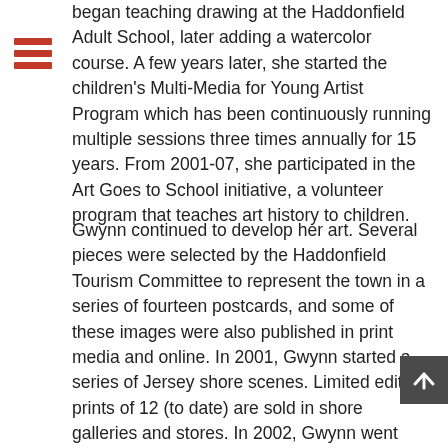began teaching drawing at the Haddonfield Adult School, later adding a watercolor course. A few years later, she started the children's Multi-Media for Young Artist Program which has been continuously running multiple sessions three times annually for 15 years. From 2001-07, she participated in the Art Goes to School initiative, a volunteer program that teaches art history to children.
Gwynn continued to develop her art. Several pieces were selected by the Haddonfield Tourism Committee to represent the town in a series of fourteen postcards, and some of these images were also published in print media and online. In 2001, Gwynn started a series of Jersey shore scenes. Limited edition prints of 12 (to date) are sold in shore galleries and stores. In 2002, Gwynn went back to school at the newly founded Studio Incamminati in Philadelphia where she studied drawing and painting for four years under the prominent portrait painter Nelson Shanks.
In the years since, Gwynn has continued to teach, adding additional classes. She remains an active artist, focusing on drawing in colored pencil, and painting in watercolor